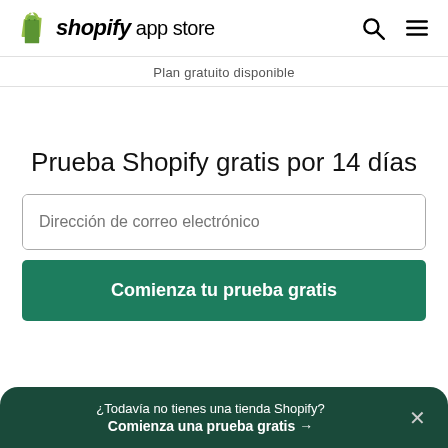shopify app store
Plan gratuito disponible
Prueba Shopify gratis por 14 días
Dirección de correo electrónico
Comienza tu prueba gratis
¿Todavía no tienes una tienda Shopify? Comienza una prueba gratis →